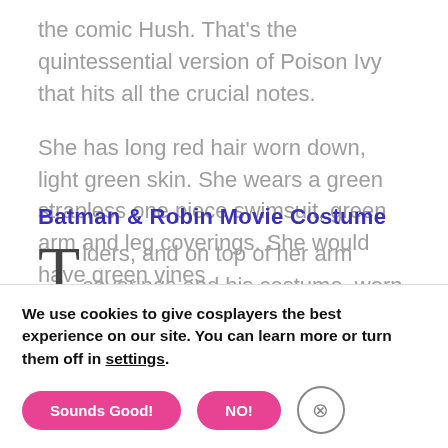the comic Hush. That's the quintessential version of Poison Ivy that hits all the crucial notes.
She has long red hair worn down, light green skin. She wears a green strapless one piece swimsuit, green arm and leg coverings. She would have green vines Batman & Robin Movie Costume ders, and on top of her arm coverings and his costume, worn by Uma Thurman in hands. the movie, is distinct due to how the
We use cookies to give cosplayers the best experience on our site. You can learn more or turn them off in settings.
Sounds Good!
NO!